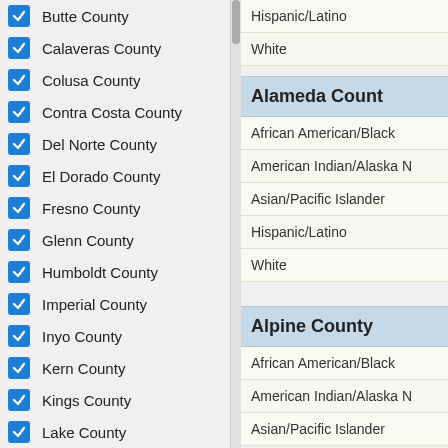Butte County
Calaveras County
Colusa County
Contra Costa County
Del Norte County
El Dorado County
Fresno County
Glenn County
Humboldt County
Imperial County
Inyo County
Kern County
Kings County
Lake County
Lassen County
Los Angeles County
Madera County
Marin County
Alameda County
African American/Black
American Indian/Alaska N
Asian/Pacific Islander
Hispanic/Latino
White
Alpine County
African American/Black
American Indian/Alaska N
Asian/Pacific Islander
Hispanic/Latino
White